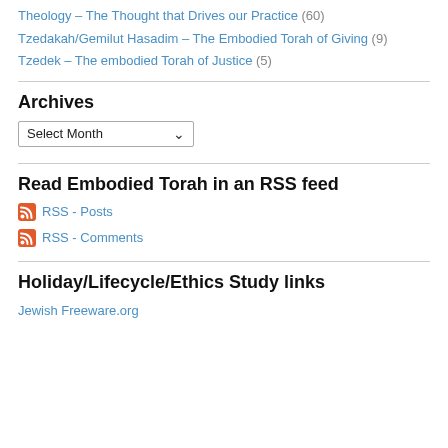Theology – The Thought that Drives our Practice (60)
Tzedakah/Gemilut Hasadim – The Embodied Torah of Giving (9)
Tzedek – The embodied Torah of Justice (5)
Archives
Select Month
Read Embodied Torah in an RSS feed
RSS - Posts
RSS - Comments
Holiday/Lifecycle/Ethics Study links
Jewish Freeware.org